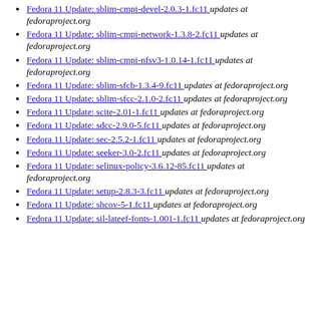Fedora 11 Update: sblim-cmpi-devel-2.0.3-1.fc11  updates at fedoraproject.org
Fedora 11 Update: sblim-cmpi-network-1.3.8-2.fc11  updates at fedoraproject.org
Fedora 11 Update: sblim-cmpi-nfsv3-1.0.14-1.fc11  updates at fedoraproject.org
Fedora 11 Update: sblim-sfcb-1.3.4-9.fc11  updates at fedoraproject.org
Fedora 11 Update: sblim-sfcc-2.1.0-2.fc11  updates at fedoraproject.org
Fedora 11 Update: scite-2.01-1.fc11  updates at fedoraproject.org
Fedora 11 Update: sdcc-2.9.0-5.fc11  updates at fedoraproject.org
Fedora 11 Update: sec-2.5.2-1.fc11  updates at fedoraproject.org
Fedora 11 Update: seeker-3.0-2.fc11  updates at fedoraproject.org
Fedora 11 Update: selinux-policy-3.6.12-85.fc11  updates at fedoraproject.org
Fedora 11 Update: setup-2.8.3-3.fc11  updates at fedoraproject.org
Fedora 11 Update: shcov-5-1.fc11  updates at fedoraproject.org
Fedora 11 Update: sil-lateef-fonts-1.001-1.fc11  updates at fedoraproject.org